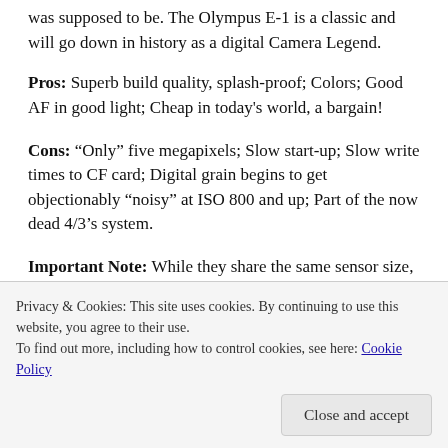was supposed to be. The Olympus E-1 is a classic and will go down in history as a digital Camera Legend.
Pros: Superb build quality, splash-proof; Colors; Good AF in good light; Cheap in today's world, a bargain!
Cons: “Only” five megapixels; Slow start-up; Slow write times to CF card; Digital grain begins to get objectionably “noisy” at ISO 800 and up; Part of the now dead 4/3’s system.
Important Note: While they share the same sensor size, please remember that 4/3’s and Micro 4/3’s are not
Privacy & Cookies: This site uses cookies. By continuing to use this website, you agree to their use.
To find out more, including how to control cookies, see here: Cookie Policy
Close and accept